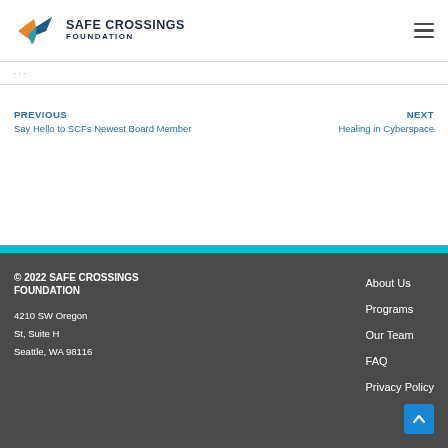SAFE CROSSINGS FOUNDATION
PREVIOUS | Say Hello to SCFs Newest Board Member | NEXT | Healing in Cyberspace
© 2022 SAFE CROSSINGS FOUNDATION
4210 SW Oregon St, Suite H
Seattle, WA 98116
About Us | Programs | Our Team | FAQ | Privacy Policy